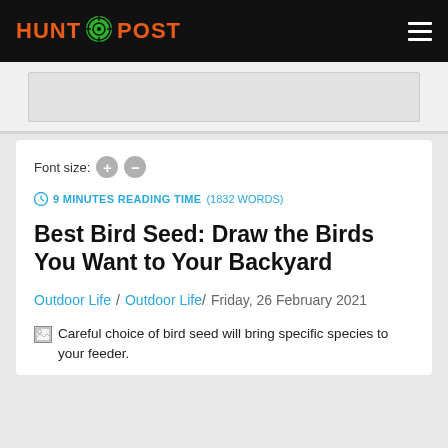HUNT POST
Font size: + -
9 MINUTES READING TIME (1832 WORDS)
Best Bird Seed: Draw the Birds You Want to Your Backyard
Outdoor Life / Outdoor Life / Friday, 26 February 2021
Careful choice of bird seed will bring specific species to your feeder.